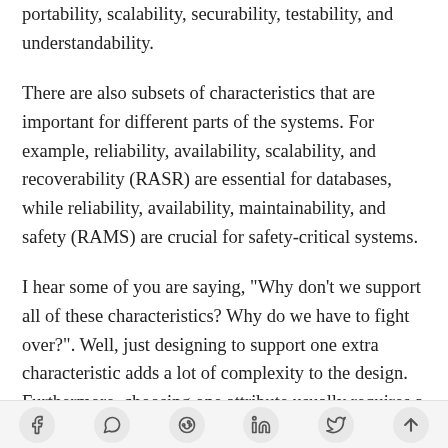portability, scalability, securability, testability, and understandability.
There are also subsets of characteristics that are important for different parts of the systems. For example, reliability, availability, scalability, and recoverability (RASR) are essential for databases, while reliability, availability, maintainability, and safety (RAMS) are crucial for safety-critical systems.
I hear some of you are saying, "Why don't we support all of these characteristics? Why do we have to fight over?". Well, just designing to support one extra characteristic adds a lot of complexity to the design. Furthermore, choosing one attribute usually requires a sacrifice from a couple of other attributes-
[social share icons: Facebook, WhatsApp, Reddit, LinkedIn, Twitter, scroll-to-top]